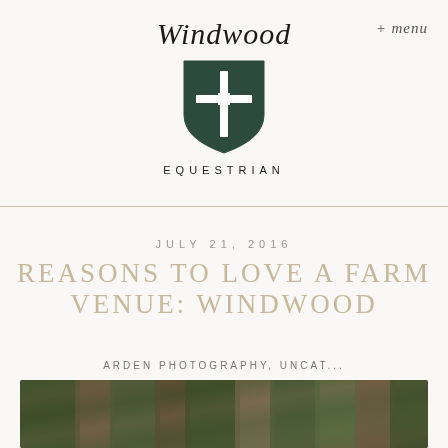[Figure (logo): Windwood Equestrian logo with shield crest and old English text]
+ menu
JULY 21, 2016
REASONS TO LOVE A FARM VENUE: WINDWOOD
ARDEN PHOTOGRAPHY, UNCAT...
[Figure (photo): Outdoor farm/forest photo preview at bottom of page]